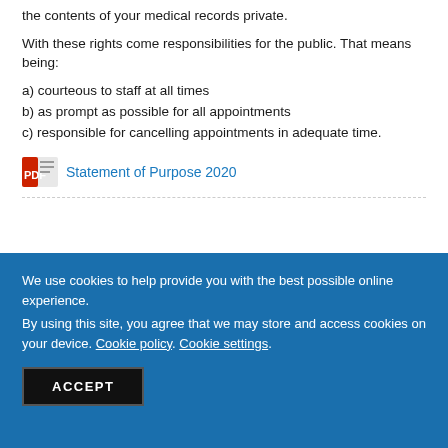the contents of your medical records private.
With these rights come responsibilities for the public. That means being:
a) courteous to staff at all times
b) as prompt as possible for all appointments
c) responsible for cancelling appointments in adequate time.
Statement of Purpose 2020
We use cookies to help provide you with the best possible online experience.
By using this site, you agree that we may store and access cookies on your device. Cookie policy. Cookie settings.
ACCEPT